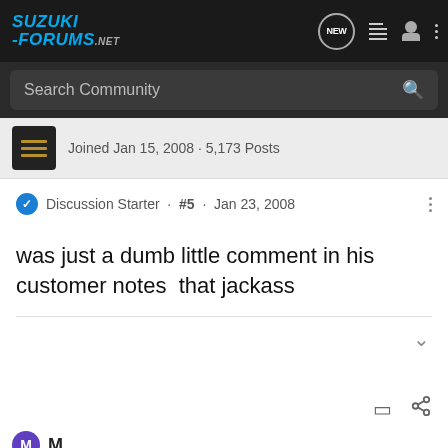SUZUKI FORUMS .NET
Search Community
Joined Jan 15, 2008 · 5,173 Posts
Discussion Starter · #5 · Jan 23, 2008
was just a dumb little comment in his customer notes  that jackass
[Figure (screenshot): Suzuki GSX-S1000 GT advertisement banner at the bottom of the page. Shows Suzuki logo in red, a motorcycle, model text 'GSX-S 1000' and 'GT', and 'SEE IT NOW >>' text. Caption reads 'GSX-S1000GT+ shown.']